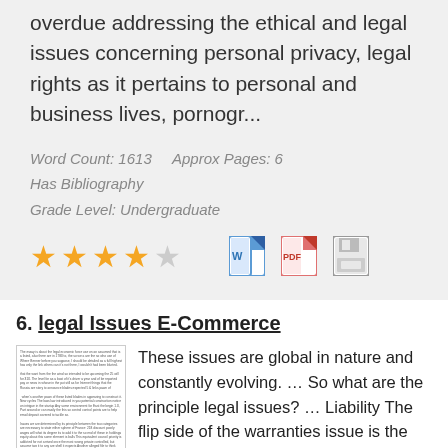overdue addressing the ethical and legal issues concerning personal privacy, legal rights as it pertains to personal and business lives, pornogr...
Word Count: 1613    Approx Pages: 6
Has Bibliography
Grade Level: Undergraduate
[Figure (other): 4 filled gold stars and 1 empty star rating, plus Word doc icon, PDF icon, and save icon]
6. legal Issues E-Commerce
[Figure (other): Thumbnail image of document text page]
These issues are global in nature and constantly evolving. ... So what are the principle legal issues? ... Liability The flip side of the warranties issue is the liability issue. ... Intellectual Property Issues (concerned with eCommerce) ECommerce and Patents The novelty